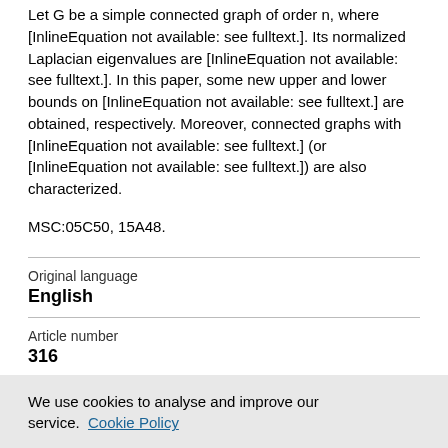Let G be a simple connected graph of order n, where [InlineEquation not available: see fulltext.]. Its normalized Laplacian eigenvalues are [InlineEquation not available: see fulltext.]. In this paper, some new upper and lower bounds on [InlineEquation not available: see fulltext.] are obtained, respectively. Moreover, connected graphs with [InlineEquation not available: see fulltext.] (or [InlineEquation not available: see fulltext.]) are also characterized.
MSC:05C50, 15A48.
| Original language |  |
| English |  |
| Article number |  |
| 316 |  |
| Journal |  |
We use cookies to analyse and improve our service. Cookie Policy